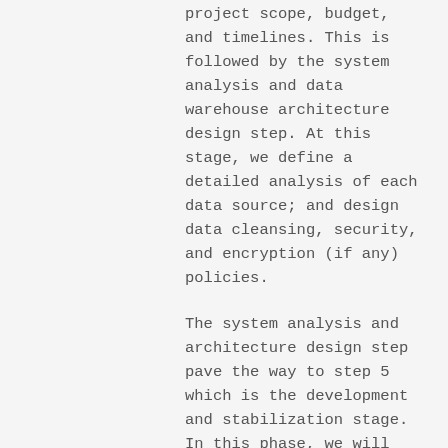project scope, budget, and timelines. This is followed by the system analysis and data warehouse architecture design step. At this stage, we define a detailed analysis of each data source; and design data cleansing, security, and encryption (if any) policies.
The system analysis and architecture design step pave the way to step 5 which is the development and stabilization stage. In this phase, we will configure and customize the data warehouse platform and implement the data security policies. We also undertake data warehouse performance testing.
Next to the development and stabilization stage is launching. In this stage, we perform data migration, data quality